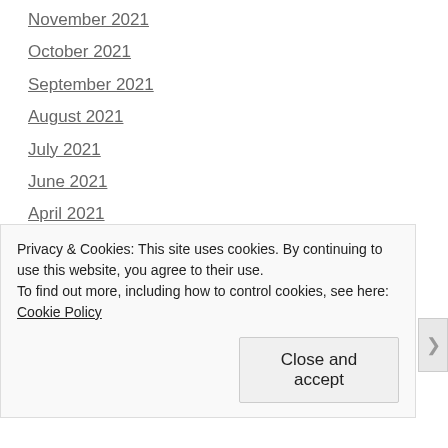November 2021
October 2021
September 2021
August 2021
July 2021
June 2021
April 2021
March 2021
February 2021
January 2021
December 2020
November 2020
October 2020
Privacy & Cookies: This site uses cookies. By continuing to use this website, you agree to their use.
To find out more, including how to control cookies, see here: Cookie Policy
Close and accept